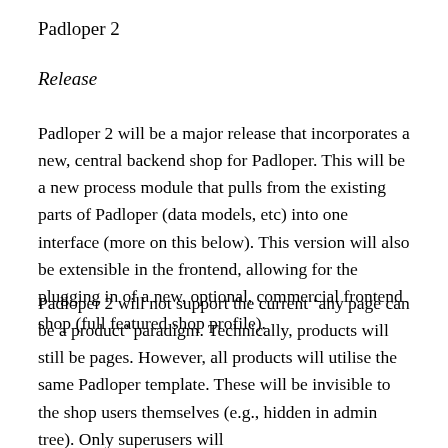Padloper 2
Release
Padloper 2 will be a major release that incorporates a new, central backend shop for Padloper. This will be a new process module that pulls from the existing parts of Padloper (data models, etc) into one interface (more on this below). This version will also be extensible in the frontend, allowing for the plugging in of a new, optional, commercial frontend shop (full featured shop profile).
Padloper 2 will not support the current ‘any page can be a product’ paradigm. Technically, products will still be pages. However, all products will utilise the same Padloper template. These will be invisible to the shop users themselves (e.g., hidden in admin tree). Only superusers will have full control of the Padloper store settings.